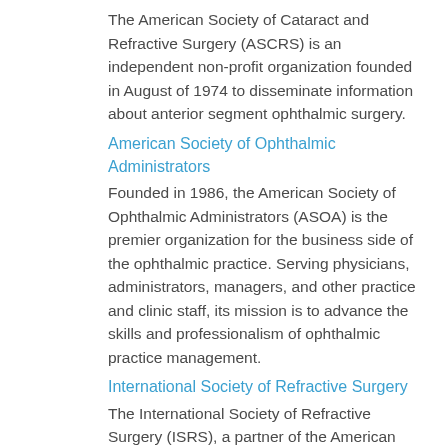The American Society of Cataract and Refractive Surgery (ASCRS) is an independent non-profit organization founded in August of 1974 to disseminate information about anterior segment ophthalmic surgery.
American Society of Ophthalmic Administrators
Founded in 1986, the American Society of Ophthalmic Administrators (ASOA) is the premier organization for the business side of the ophthalmic practice. Serving physicians, administrators, managers, and other practice and clinic staff, its mission is to advance the skills and professionalism of ophthalmic practice management.
International Society of Refractive Surgery
The International Society of Refractive Surgery (ISRS), a partner of the American Academy of